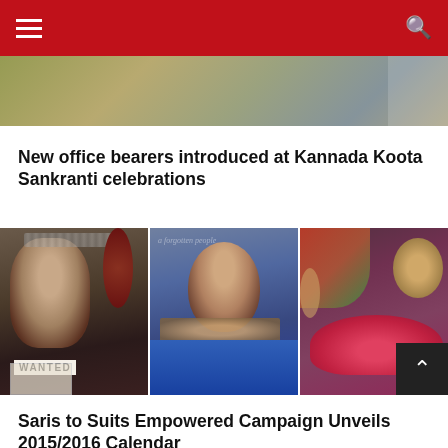Navigation header with hamburger menu and search icon
[Figure (photo): Partial top image of people at an event, cropped from above]
New office bearers introduced at Kannada Koota Sankranti celebrations
[Figure (photo): Three-panel composite photo: left panel shows a woman in hijab holding a WANTED poster; center panel shows a smiling woman in a blue top against a background with text 'a forgotten people'; right panel shows a woman with raised arm near colorful lights and a red fluffy object]
Saris to Suits Empowered Campaign Unveils 2015/2016 Calendar